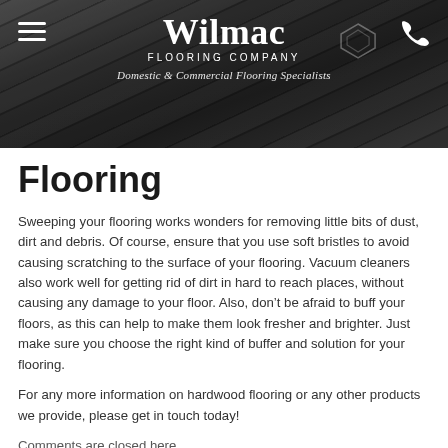[Figure (photo): Header banner with dark wood flooring planks texture background, Wilmac Flooring Company logo centered in white text, hamburger menu icon on the left, phone icon on the right, and tagline 'Domestic & Commercial Flooring Specialists' in italic below.]
Flooring
Sweeping your flooring works wonders for removing little bits of dust, dirt and debris. Of course, ensure that you use soft bristles to avoid causing scratching to the surface of your flooring. Vacuum cleaners also work well for getting rid of dirt in hard to reach places, without causing any damage to your floor. Also, don’t be afraid to buff your floors, as this can help to make them look fresher and brighter. Just make sure you choose the right kind of buffer and solution for your flooring.
For any more information on hardwood flooring or any other products we provide, please get in touch today!
Comments are closed here.